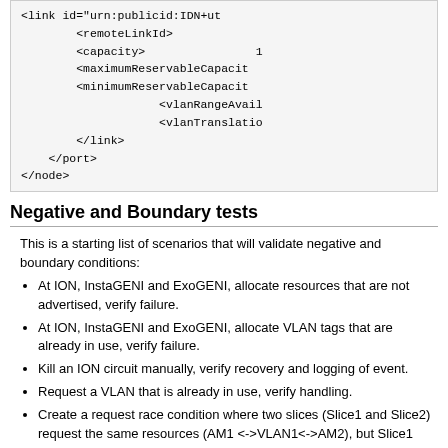[Figure (screenshot): XML code snippet showing link, remoteLinkId, capacity, maximumReservableCapacity, minimumReservableCapacity, vlanRangeAvail, vlanTranslation, /link, /port, /node tags]
Negative and Boundary tests
This is a starting list of scenarios that will validate negative and boundary conditions:
At ION, InstaGENI and ExoGENI, allocate resources that are not advertised, verify failure.
At ION, InstaGENI and ExoGENI, allocate VLAN tags that are already in use, verify failure.
Kill an ION circuit manually, verify recovery and logging of event.
Request a VLAN that is already in use, verify handling.
Create a request race condition where two slices (Slice1 and Slice2) request the same resources (AM1 <->VLAN1<->AM2), but Slice1 gets VLAN1 at AM1 and Slice2 gets VLAN1 at AM2. Verify results tools handle the results and properly handle resources.
Pseudo Loop Scenario: Request PG Utah to ION to IG GRO. Then request a 2nd interface at PG Utah node to ION